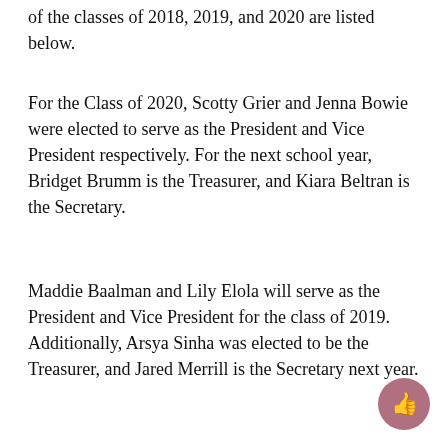of the classes of 2018, 2019, and 2020 are listed below.
For the Class of 2020, Scotty Grier and Jenna Bowie were elected to serve as the President and Vice President respectively. For the next school year, Bridget Brumm is the Treasurer, and Kiara Beltran is the Secretary.
Maddie Baalman and Lily Elola will serve as the President and Vice President for the class of 2019. Additionally, Arsya Sinha was elected to be the Treasurer, and Jared Merrill is the Secretary next year.